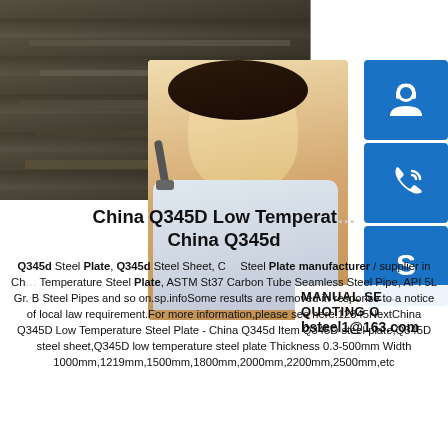[Figure (photo): Steel plates stacked in a warehouse/industrial setting, dark metallic gray color. Overlaid with a woman wearing a headset (customer service representative) and three blue icon boxes on the right side showing a support agent icon, a phone/call icon, and a Skype icon.]
China Q345D Low Temperature Steel Plate - China Q345d
Q345d Steel Plate, Q345d Steel Sheet, China Steel Plate manufacturer / supplier in China, Low Temperature Steel Plate, ASTM St37 Carbon Tube Seamless Steel Pipe, API 5L Gr. B Steel Pipes and so on.sp.infoSome results are removed in response to a notice of local law requirement.For more information,please see here.12345NextChina Q345D Low Temperature Steel Plate - China Q345d Item Q345D steel plate,Q345D steel sheet,Q345D low temperature steel plate Thickness 0.3-500mm Width 1000mm,1219mm,1500mm,1800mm,2000mm,2200mm,2500mm,etc